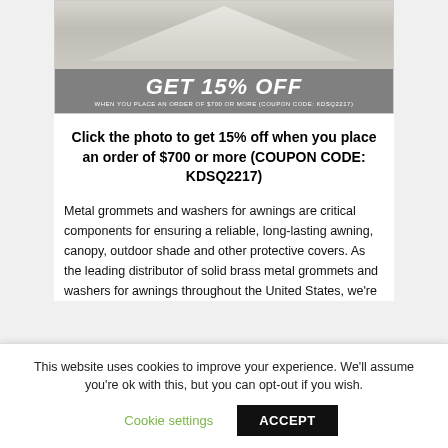[Figure (photo): Photo of a white tent/canopy structure with a grey discount banner overlay reading GET 15% OFF WHEN YOU PLACE AN ORDER OF $700 OR MORE (COUPON CODE: KDSQ2217)]
Click the photo to get 15% off when you place an order of $700 or more (COUPON CODE: KDSQ2217)
Metal grommets and washers for awnings are critical components for ensuring a reliable, long-lasting awning, canopy, outdoor shade and other protective covers. As the leading distributor of solid brass metal grommets and washers for awnings throughout the United States, we're
This website uses cookies to improve your experience. We'll assume you're ok with this, but you can opt-out if you wish.